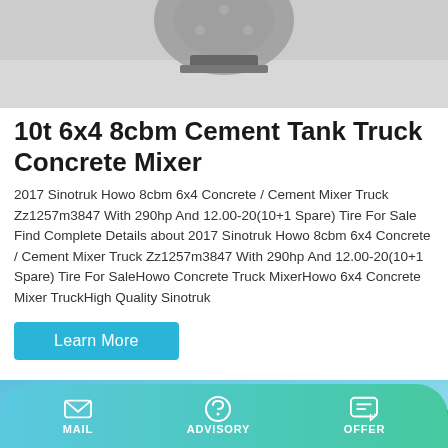[Figure (photo): Top portion of a cement mixer / concrete mixer truck, showing part of the mixing drum mechanism against a light grey background.]
10t 6x4 8cbm Cement Tank Truck Concrete Mixer
2017 Sinotruk Howo 8cbm 6x4 Concrete / Cement Mixer Truck Zz1257m3847 With 290hp And 12.00-20(10+1 Spare) Tire For Sale Find Complete Details about 2017 Sinotruk Howo 8cbm 6x4 Concrete / Cement Mixer Truck Zz1257m3847 With 290hp And 12.00-20(10+1 Spare) Tire For SaleHowo Concrete Truck MixerHowo 6x4 Concrete Mixer TruckHigh Quality Sinotruk
[Figure (photo): Partial view of another concrete mixer truck against a blue sky background, showing the upper portion.]
MAIL   ADVISORY   OFFER